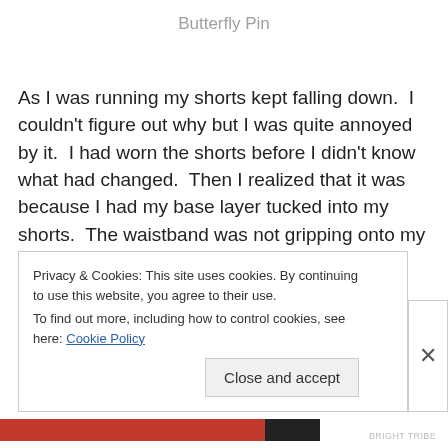Butterfly Pin
As I was running my shorts kept falling down.  I couldn't figure out why but I was quite annoyed by it.  I had worn the shorts before I didn't know what had changed.  Then I realized that it was because I had my base layer tucked into my shorts.  The waistband was not gripping onto my skin but rather was sliding down my torso with the jersey.
Privacy & Cookies: This site uses cookies. By continuing to use this website, you agree to their use.
To find out more, including how to control cookies, see here: Cookie Policy
Close and accept